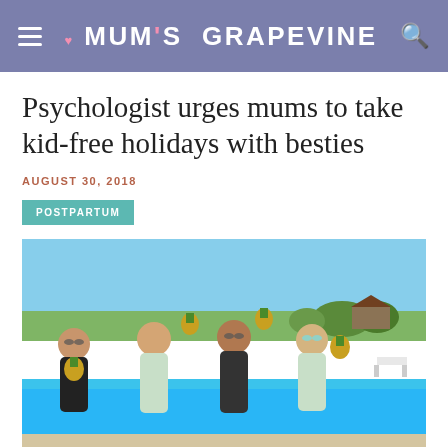MUM'S GRAPEVINE
Psychologist urges mums to take kid-free holidays with besties
AUGUST 30, 2018
POSTPARTUM
[Figure (photo): Four women in swimsuits holding pineapples posing by a swimming pool outdoors on a sunny day]